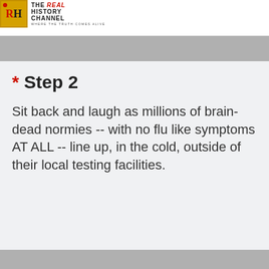THE REAL HISTORY CHANNEL — WHERE THE TRUTH COMES ALIVE
* Step 2
Sit back and laugh as millions of brain-dead normies -- with no flu like symptoms AT ALL -- line up, in the cold, outside of their local testing facilities.